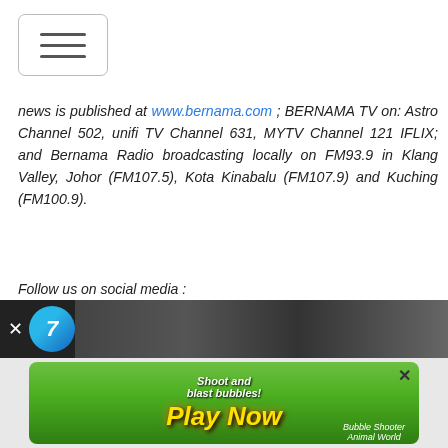[Figure (screenshot): Hamburger menu button with three horizontal lines inside a rounded rectangle border]
news is published at www.bernama.com ; BERNAMA TV on: Astro Channel 502, unifi TV Channel 631, MYTV Channel 121 IFLIX; and Bernama Radio broadcasting locally on FM93.9 in Klang Valley, Johor (FM107.5), Kota Kinabalu (FM107.9) and Kuching (FM100.9).
Follow us on social media :
Facebook : @bernamaofficial, @bernamatv, @bernamaradio
Twitter : @bernama.com, @BernamaTV, @bernamaradio
Instagram : @bernamaofficial, @bernamatvofficial, @bernamaradioofficial
TikTok : @bernamaofficial
[Figure (screenshot): Dark advertisement banner with a channel logo and close button]
[Figure (screenshot): Green game advertisement banner: Shoot and blast bubbles! Play Now - Bubble Shooter Animal World]